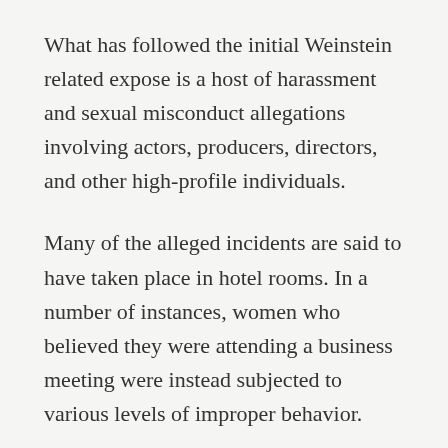What has followed the initial Weinstein related expose is a host of harassment and sexual misconduct allegations involving actors, producers, directors, and other high-profile individuals.
Many of the alleged incidents are said to have taken place in hotel rooms. In a number of instances, women who believed they were attending a business meeting were instead subjected to various levels of improper behavior.
After the earth shattering revelations had come to the public forefront, what the appropriate response on the part of the